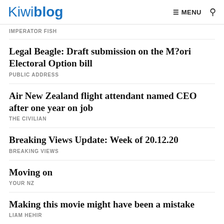Kiwiblog | ≡ MENU 🔍
IMPERATOR FISH
Legal Beagle: Draft submission on the M?ori Electoral Option bill
PUBLIC ADDRESS
Air New Zealand flight attendant named CEO after one year on job
THE CIVILIAN
Breaking Views Update: Week of 20.12.20
BREAKING VIEWS
Moving on
YOUR NZ
Making this movie might have been a mistake
LIAM HEHIR